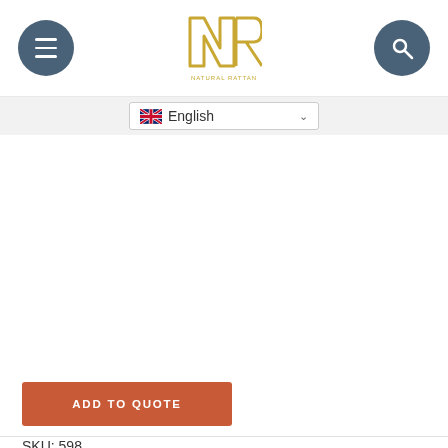[Figure (logo): Natural Rattan brand logo — stylized NR letters in gold/yellow with 'NATURAL RATTAN' text below]
English
[Figure (screenshot): Blank white product image area]
ADD TO QUOTE
SKU: 598